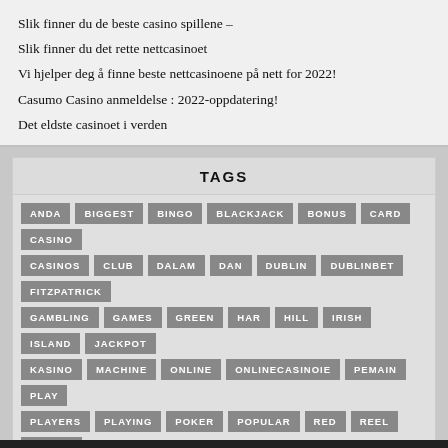Slik finner du de beste casino spillene –
Slik finner du det rette nettcasinoet
Vi hjelper deg å finne beste nettcasinoene på nett for 2022!
Casumo Casino anmeldelse : 2022-oppdatering!
Det eldste casinoet i verden
TAGS
ANDA BIGGEST BINGO BLACKJACK BONUS CARD CASINO CASINOS CLUB DALAM DAN DUBLIN DUBLINBET FITZPATRICK GAMBLING GAMES GREEN HAR HILL IRISH ISLAND JACKPOT KASINO MACHINE ONLINE ONLINECASINOIE PEMAIN PLAY PLAYERS PLAYING POKER POPULAR RED REEL REVIEW ROULETTE SLOT SLOTS STRATEGIES TIPS TYPES VEGAS WILLIAM WIN YANG